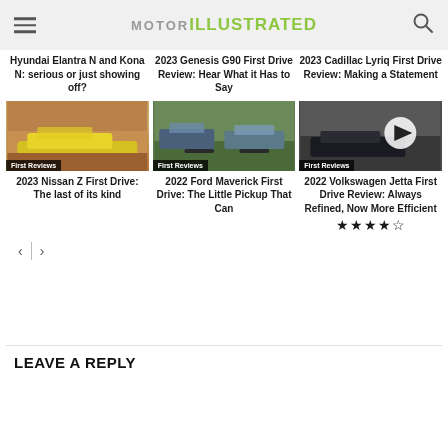MOTOR ILLUSTRATED
Hyundai Elantra N and Kona N: serious or just showing off?
2023 Genesis G90 First Drive Review: Hear What it Has to Say
2023 Cadillac Lyriq First Drive Review: Making a Statement
[Figure (photo): Yellow sports car on a mountain road - 2023 Nissan Z]
2023 Nissan Z First Drive: The last of its kind
[Figure (photo): Ford Maverick pickup trucks on grass field]
2022 Ford Maverick First Drive: The Little Pickup That Can
[Figure (photo): 2022 Volkswagen Jetta with play button overlay - video thumbnail]
2022 Volkswagen Jetta First Drive Review: Always Refined, Now More Efficient
★★★★☆
LEAVE A REPLY